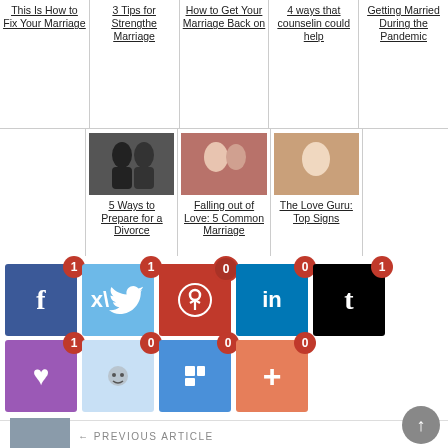[Figure (screenshot): Grid of article thumbnails with links: 'This Is How to Fix Your Marriage', '3 Tips for Strengthen Marriage', 'How to Get Your Marriage Back on', '4 ways that counseling could help', 'Getting Married During the Pandemic', '5 Ways to Prepare for a Divorce', 'Falling out of Love: 5 Common Marriage', 'The Love Guru: Top Signs']
[Figure (infographic): Social share buttons row 1: Facebook (1), Twitter (1), Pinterest (0), LinkedIn (0), Tumblr (1). Row 2: Love/heart purple (1), Reddit (0), Flipboard (0), Add/plus orange (0).]
PREVIOUS ARTICLE